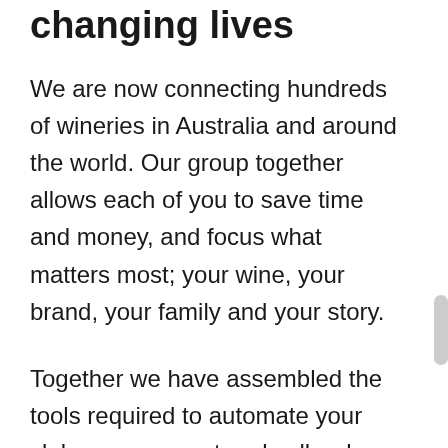changing lives
We are now connecting hundreds of wineries in Australia and around the world. Our group together allows each of you to save time and money, and focus what matters most; your wine, your brand, your family and your story.
Together we have assembled the tools required to automate your club management and cellar door operations. We deal with industry suppliers and increasingly we have the strength to serve everyone better and reduce your